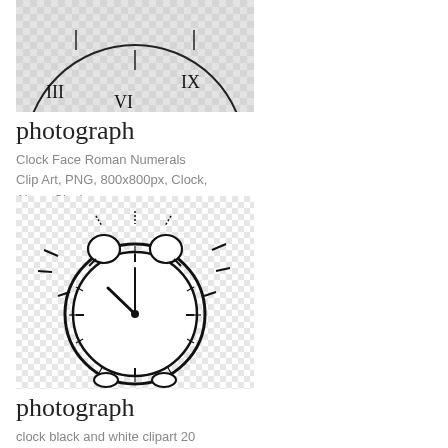[Figure (photo): Clock face with Roman numerals, clip art on transparent/checkered background, partial view cropped at top]
photograph
Clock Face Roman Numerals
Clip Art, PNG, 800x800px, Clock,
Alarm Clock
[Figure (illustration): Hand-drawn style black and white alarm clock ringing illustration on transparent/checkered background]
photograph
clock black and white clipart 20